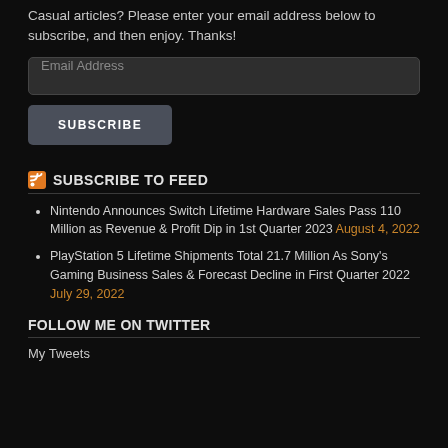Casual articles? Please enter your email address below to subscribe, and then enjoy. Thanks!
[Figure (other): Email address input field with placeholder text 'Email Address']
[Figure (other): Subscribe button with label 'SUBSCRIBE']
SUBSCRIBE TO FEED
Nintendo Announces Switch Lifetime Hardware Sales Pass 110 Million as Revenue & Profit Dip in 1st Quarter 2023 August 4, 2022
PlayStation 5 Lifetime Shipments Total 21.7 Million As Sony's Gaming Business Sales & Forecast Decline in First Quarter 2022 July 29, 2022
FOLLOW ME ON TWITTER
My Tweets